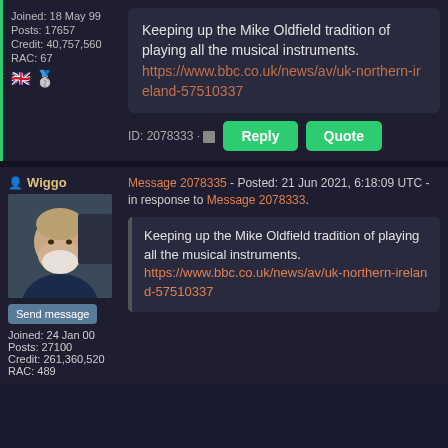Joined: 18 May 99
Posts: 17657
Credit: 40,757,560
RAC: 67
Keeping up the Mike Oldfield tradition of playing all the musical instruments.
https://www.bbc.co.uk/news/av/uk-northern-ireland-57510337
ID: 2078333 · Reply | Quote
Wiggo
Message 2078335 - Posted: 21 Jun 2021, 6:18:09 UTC - in response to Message 2078333.
Send message
Joined: 24 Jan 00
Posts: 27100
Credit: 261,360,520
RAC: 489
Keeping up the Mike Oldfield tradition of playing all the musical instruments.
https://www.bbc.co.uk/news/av/uk-northern-ireland-57510337